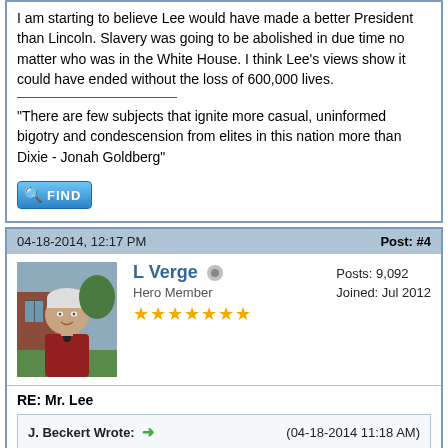I am starting to believe Lee would have made a better President than Lincoln. Slavery was going to be abolished in due time no matter who was in the White House. I think Lee's views show it could have ended without the loss of 600,000 lives.
"There are few subjects that ignite more casual, uninformed bigotry and condescension from elites in this nation more than Dixie - Jonah Goldberg"
[Figure (other): FIND button with magnifier icon]
04-18-2014, 12:17 PM
Post: #4
[Figure (photo): Profile photo of L Verge, an older woman with short white/grey hair wearing a red jacket, standing outdoors near a brick building]
L Verge
Hero Member
★★★★★★★
Posts: 9,092
Joined: Jul 2012
RE: Mr. Lee
J. Beckert Wrote: → (04-18-2014 11:18 AM)
It's interesting you posted this now, as I've just looked at this this morning. Lee's views on slavery in 1856:
http://www.civilwarhome.com/leepierce.htm
I am starting to believe Lee would have made a better